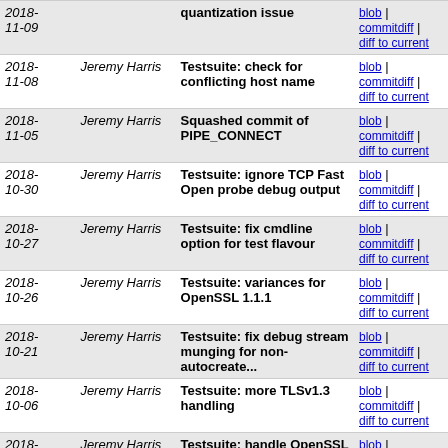| Date | Author | Message | Links |
| --- | --- | --- | --- |
| 2018-11-09 |  | quantization issue | blob | commitdiff | diff to current |
| 2018-11-08 | Jeremy Harris | Testsuite: check for conflicting host name | blob | commitdiff | diff to current |
| 2018-11-05 | Jeremy Harris | Squashed commit of PIPE_CONNECT | blob | commitdiff | diff to current |
| 2018-10-30 | Jeremy Harris | Testsuite: ignore TCP Fast Open probe debug output | blob | commitdiff | diff to current |
| 2018-10-27 | Jeremy Harris | Testsuite: fix cmdline option for test flavour | blob | commitdiff | diff to current |
| 2018-10-26 | Jeremy Harris | Testsuite: variances for OpenSSL 1.1.1 | blob | commitdiff | diff to current |
| 2018-10-21 | Jeremy Harris | Testsuite: fix debug stream munging for non-autocreate... | blob | commitdiff | diff to current |
| 2018-10-06 | Jeremy Harris | Testsuite: more TLSv1.3 handling | blob | commitdiff | diff to current |
| 2018-09-20 | Jeremy Harris | Testsuite: handle OpenSSL 1.1.1 | blob | commitdiff | diff to current |
| 2018-09-18 | Jeremy Harris | Testsuite: track newer GnuTLS behaviour | blob | commitdiff | diff to current |
| 2018-08-21 | Jeremy Harris | Debug: indent builtin-DB operations | blob | commitdiff | diff to current |
| 2018-07-28 | Jeremy Harris | I18N: add a utf8_downconvert option to the smtp transpo... | blob | commitdiff | diff to current |
| 2018-07-27 | Jeremy Harris | Support REQUIRETLS | blob | commitdiff | diff to current |
| 2018-06-21 | Jeremy Harris | Testsuite: workaround older-perl bug | blob | commitdiff | diff to current |